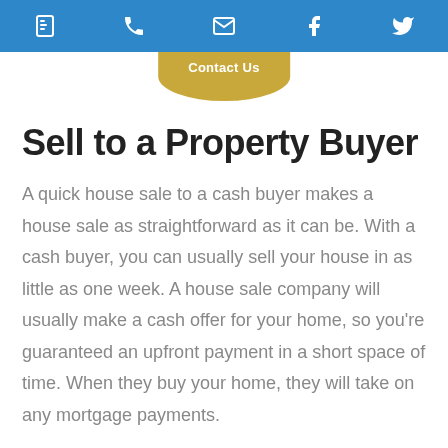icons: phone, phone, mail, facebook, twitter
Contact Us
Sell to a Property Buyer
A quick house sale to a cash buyer makes a house sale as straightforward as it can be. With a cash buyer, you can usually sell your house in as little as one week. A house sale company will usually make a cash offer for your home, so you’re guaranteed an upfront payment in a short space of time. When they buy your home, they will take on any mortgage payments.
A quick sale like this is a great option for anyone